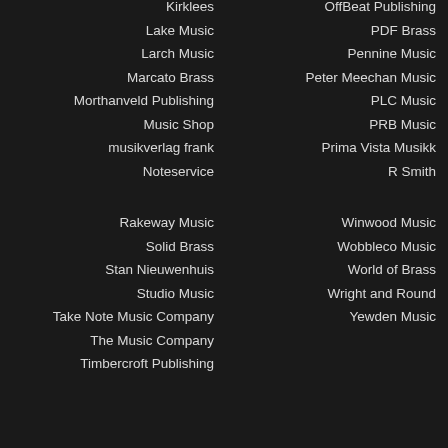Kirklees
OffBeat Publishing
Lake Music
PDF Brass
Larch Music
Pennine Music
Marcato Brass
Peter Meechan Music
Morthanveld Publishing
PLC Music
Music Shop
PRB Music
musikverlag frank
Prima Vista Musikk
Noteservice
R Smith
Rakeway Music
Winwood Music
Solid Brass
Wobbleco Music
Stan Nieuwenhuis
World of Brass
Studio Music
Wright and Round
Take Note Music Company
Yewden Music
The Music Company
Timbercroft Publishing